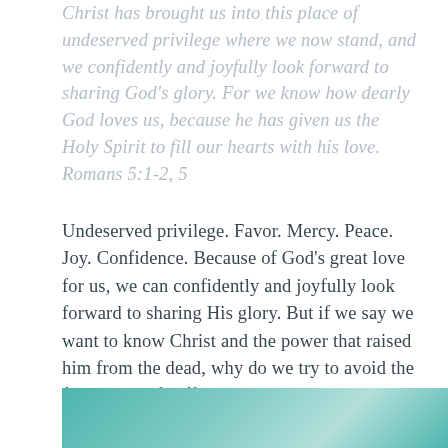Christ has brought us into this place of undeserved privilege where we now stand, and we confidently and joyfully look forward to sharing God's glory. For we know how dearly God loves us, because he has given us the Holy Spirit to fill our hearts with his love. Romans 5:1-2, 5
Undeserved privilege. Favor. Mercy. Peace. Joy. Confidence. Because of God's great love for us, we can confidently and joyfully look forward to sharing His glory. But if we say we want to know Christ and the power that raised him from the dead, why do we try to avoid the fellowship of suffering that comes with it?
[Figure (photo): Partial view of a teal/turquoise textured background image at the bottom of the page]